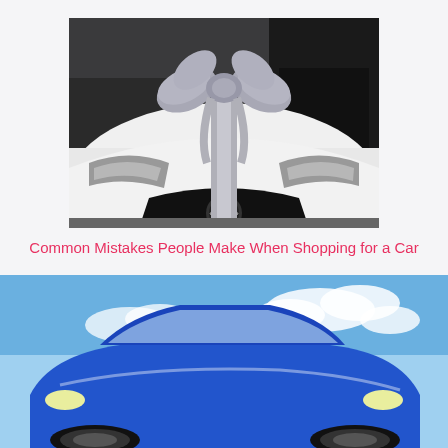[Figure (photo): Close-up of the front hood of a white Mercedes-Benz car with a large silver/grey decorative ribbon bow on top, as if it were a gift. Dark cars visible in the background at a dealership.]
Common Mistakes People Make When Shopping for a Car
[Figure (photo): A blue car photographed from above/side angle against a blue sky with clouds, partially cropped at the bottom of the page.]